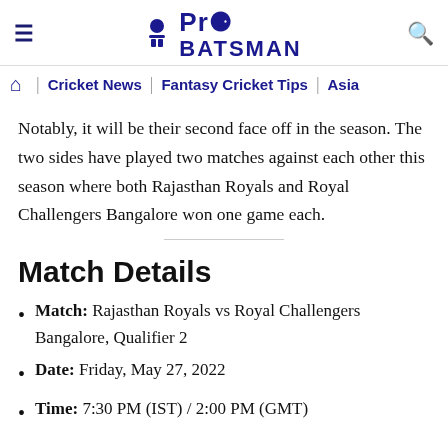Pro Batsman — Cricket News | Fantasy Cricket Tips | Asia
Notably, it will be their second face off in the season. The two sides have played two matches against each other this season where both Rajasthan Royals and Royal Challengers Bangalore won one game each.
Match Details
Match: Rajasthan Royals vs Royal Challengers Bangalore, Qualifier 2
Date: Friday, May 27, 2022
Time: 7:30 PM (IST) / 2:00 PM (GMT)